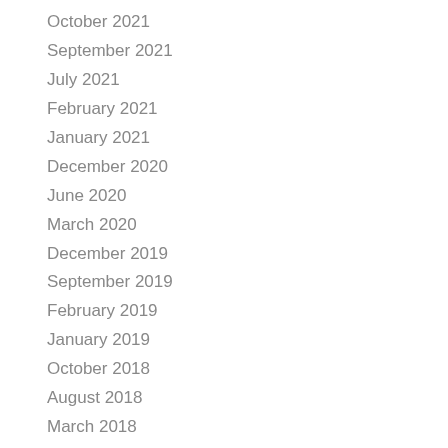October 2021
September 2021
July 2021
February 2021
January 2021
December 2020
June 2020
March 2020
December 2019
September 2019
February 2019
January 2019
October 2018
August 2018
March 2018